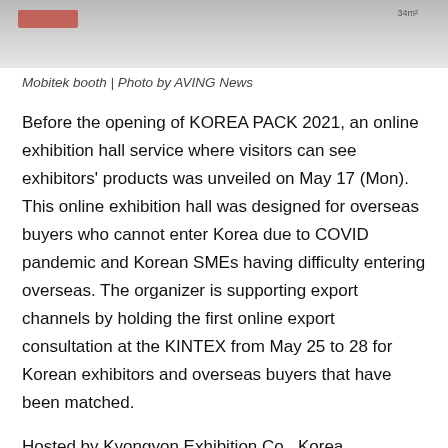[Figure (photo): Mobitek booth photo, partially cropped at top of page]
Mobitek booth | Photo by AVING News
Before the opening of KOREA PACK 2021, an online exhibition hall service where visitors can see exhibitors' products was unveiled on May 17 (Mon). This online exhibition hall was designed for overseas buyers who cannot enter Korea due to COVID pandemic and Korean SMEs having difficulty entering overseas. The organizer is supporting export channels by holding the first online export consultation at the KINTEX from May 25 to 28 for Korean exhibitors and overseas buyers that have been matched.
Hosted by Kyongyon Exhibition Co., Korea Packaging Machinery Association, KIP, and PackNet, the items exhibited at KOREA PACK Special and ICPI WEEK 2021 are as follows. △Packaging machine △Packaging material △Packaging